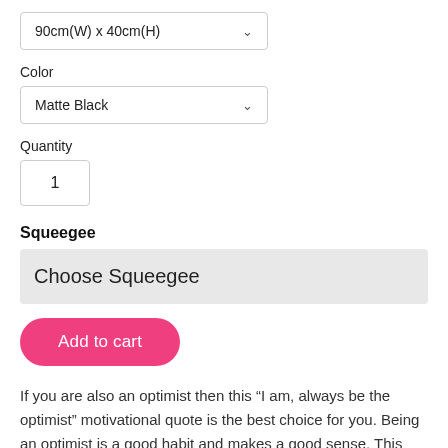90cm(W) x 40cm(H)
Color
Matte Black
Quantity
1
Squeegee
Choose Squeegee
Add to cart
If you are also an optimist then this “I am, always be the optimist” motivational quote is the best choice for you. Being an optimist is a good habit and makes a good sense. This motivational wall sticker has the same thought that has in